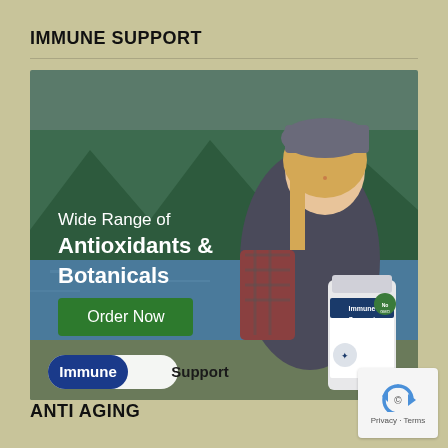IMMUNE SUPPORT
[Figure (photo): Advertisement for Immune Support supplement. Shows a smiling woman outdoors near a mountain lake, holding a bottle of Immune Support supplement. Text overlay reads: 'Wide Range of Antioxidants & Botanicals' with a green 'Order Now' button and 'Immune Support' logo at bottom.]
ANTI AGING